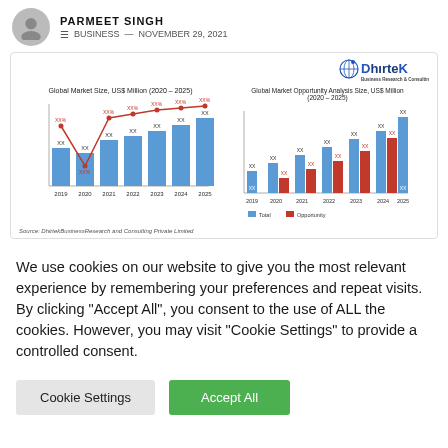PARMEET SINGH — BUSINESS — NOVEMBER 29, 2021
[Figure (bar-chart): Bar chart with line overlay showing global market size with XX placeholder values for years 2019-2025]
[Figure (bar-chart): Grouped bar chart showing Total (blue) and Opportunity (red) with XX placeholder values for years 2019-2025]
Source: DhirtekBusinessResearch and Consulting Private Limited
We use cookies on our website to give you the most relevant experience by remembering your preferences and repeat visits. By clicking "Accept All", you consent to the use of ALL the cookies. However, you may visit "Cookie Settings" to provide a controlled consent.
Cookie Settings | Accept All